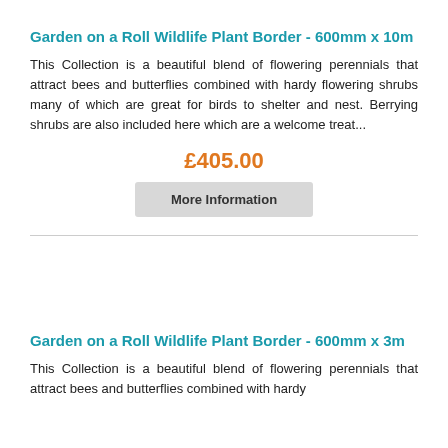Garden on a Roll Wildlife Plant Border - 600mm x 10m
This Collection is a beautiful blend of flowering perennials that attract bees and butterflies combined with hardy flowering shrubs many of which are great for birds to shelter and nest. Berrying shrubs are also included here which are a welcome treat...
£405.00
More Information
Garden on a Roll Wildlife Plant Border - 600mm x 3m
This Collection is a beautiful blend of flowering perennials that attract bees and butterflies combined with hardy